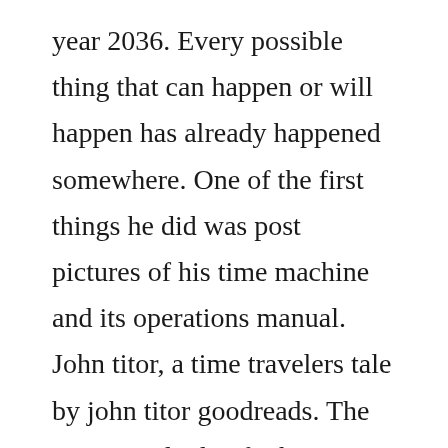year 2036. Every possible thing that can happen or will happen has already happened somewhere. One of the first things he did was post pictures of his time machine and its operations manual. John titor, a time travelers tale by john titor goodreads. The time travel tale of john titor download pdfepub. He used the term worldline to describe his separate reality. Some physicists have said that titor s time machine would not work since he did not have enough mass to create the microsingularity he claimed he had. It all started when a person calling himself john